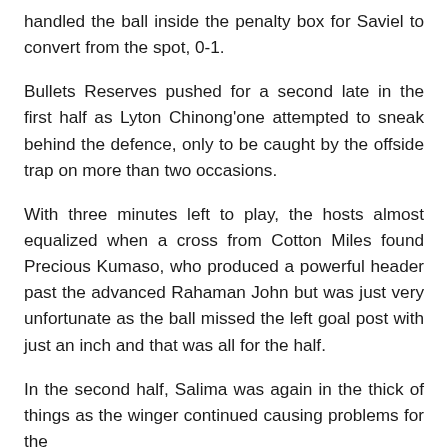handled the ball inside the penalty box for Saviel to convert from the spot, 0-1.
Bullets Reserves pushed for a second late in the first half as Lyton Chinong'one attempted to sneak behind the defence, only to be caught by the offside trap on more than two occasions.
With three minutes left to play, the hosts almost equalized when a cross from Cotton Miles found Precious Kumaso, who produced a powerful header past the advanced Rahaman John but was just very unfortunate as the ball missed the left goal post with just an inch and that was all for the half.
In the second half, Salima was again in the thick of things as the winger continued causing problems for the